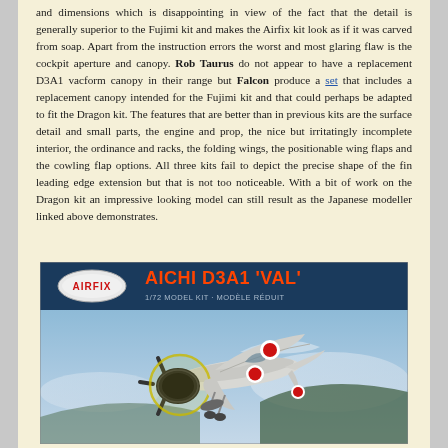and dimensions which is disappointing in view of the fact that the detail is generally superior to the Fujimi kit and makes the Airfix kit look as if it was carved from soap. Apart from the instruction errors the worst and most glaring flaw is the cockpit aperture and canopy. Rob Taurus do not appear to have a replacement D3A1 vacform canopy in their range but Falcon produce a set that includes a replacement canopy intended for the Fujimi kit and that could perhaps be adapted to fit the Dragon kit. The features that are better than in previous kits are the surface detail and small parts, the engine and prop, the nice but irritatingly incomplete interior, the ordinance and racks, the folding wings, the positionable wing flaps and the cowling flap options. All three kits fail to depict the precise shape of the fin leading edge extension but that is not too noticeable. With a bit of work on the Dragon kit an impressive looking model can still result as the Japanese modeller linked above demonstrates.
[Figure (photo): Airfix model kit box art showing Aichi D3A1 'Val' dive bomber aircraft in flight. The box features the red Airfix logo oval, large orange-red text reading 'AICHI D3A1 VAL', subtitle '1/72 MODEL KIT - MODELE REDUIT', and illustration of a Japanese WWII dive bomber with red rising sun markings against a blue sky.]